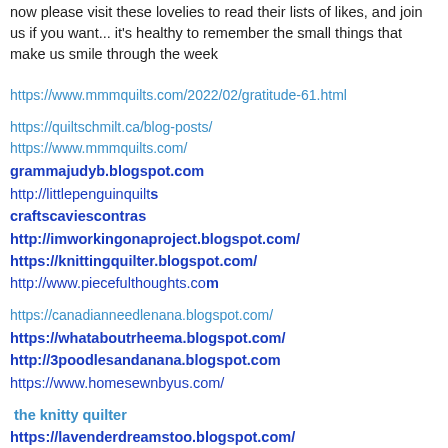now please visit these lovelies to read their lists of likes, and join us if you want... it's healthy to remember the small things that make us smile through the week
https://www.mmmquilts.com/2022/02/gratitude-61.html
https://quiltschmilt.ca/blog-posts/
https://www.mmmquilts.com/
grammajudyb.blogspot.com
http://littlepenguinquilts
craftscaviescontras
http://imworkingonaproject.blogspot.com/
https://knittingquilter.blogspot.com/
http://www.piecefulthoughts.com
https://canadianneedlenana.blogspot.com/
https://whataboutrheema.blogspot.com/
http://3poodlesandanana.blogspot.com
https://www.homesewnbyus.com/
the knitty quilter
https://lavenderdreamstoo.blogspot.com/
https://scrpatchos.blogspot.com/